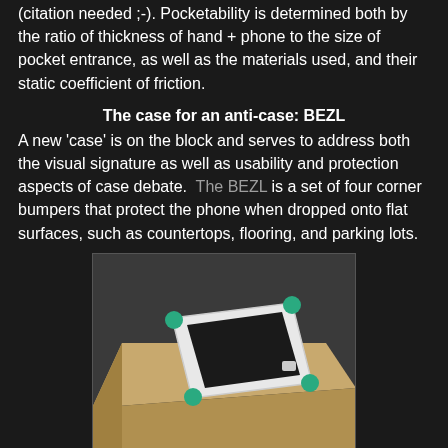(citation needed ;-). Pocketability is determined both by the ratio of thickness of hand + phone to the size of pocket entrance, as well as the materials used, and their static coefficient of friction.
The case for an anti-case: BEZL
A new 'case' is on the block and serves to address both the visual signature as well as usability and protection aspects of case debate. The BEZL is a set of four corner bumpers that protect the phone when dropped onto flat surfaces, such as countertops, flooring, and parking lots.
[Figure (photo): A white smartphone with four teal/green corner bumpers (BEZL case) resting on a light wood-colored flat surface, photographed at an angle against a dark gray background.]
Aesthetically, it's the most unique case I've seen, in that it